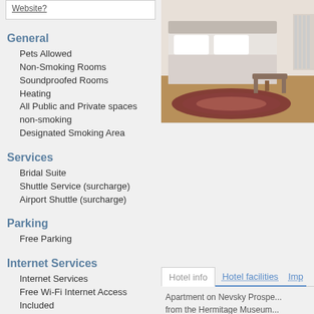Website?
General
Pets Allowed
Non-Smoking Rooms
Soundproofed Rooms
Heating
All Public and Private spaces non-smoking
Designated Smoking Area
Services
Bridal Suite
Shuttle Service (surcharge)
Airport Shuttle (surcharge)
Parking
Free Parking
Internet Services
Internet Services
Free Wi-Fi Internet Access Included
Accepted credit cards
No credit cards accepted, only cash
[Figure (photo): Hotel room photo showing a bed with white linens and a decorative rug on wooden floor]
Hotel info   Hotel facilities   Imp...
Apartment on Nevsky Prospe... from the Hermitage Museum...